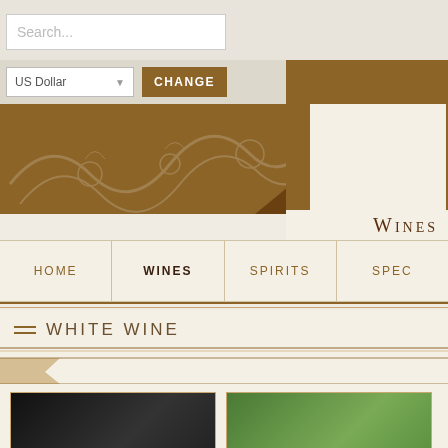[Figure (screenshot): Website header with search box, currency selector, logo, navigation menu, and White Wine section header]
WHITE WINE